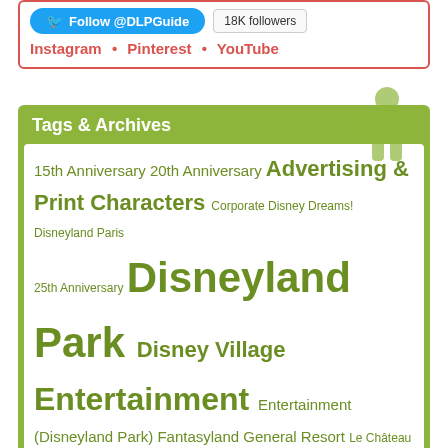Follow @DLPGuide | 18K followers
Instagram • Pinterest • YouTube
Tags & Archives
15th Anniversary 20th Anniversary Advertising & Print Characters Corporate Disney Dreams! Disneyland Paris 25th Anniversary Disneyland Park Disney Village Entertainment Entertainment (Disneyland Park) Fantasyland General Resort Le Château de la Belle au Bois Dormant Main Street U.S.A. Parades Press Events Ratatouille: The Adventure - L'Aventure Totalement Toquée de Rémy Refurbishments Seasons Shows The Twilight Zone Tower of Terror Toon Studio Walt Disney Studios Park Your Visit
Select a month